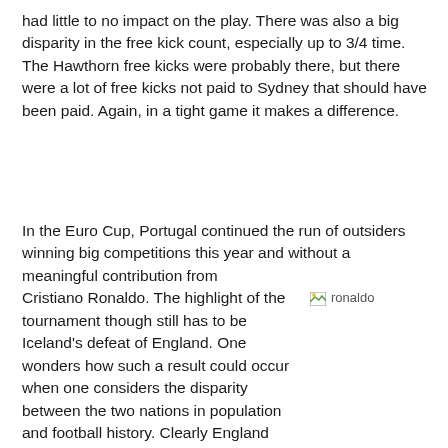had little to no impact on the play. There was also a big disparity in the free kick count, especially up to 3/4 time. The Hawthorn free kicks were probably there, but there were a lot of free kicks not paid to Sydney that should have been paid. Again, in a tight game it makes a difference.
In the Euro Cup, Portugal continued the run of outsiders winning big competitions this year and without a meaningful contribution from Cristiano Ronaldo. The highlight of the tournament though still has to be Iceland's defeat of England. One wonders how such a result could occur when one considers the disparity between the two nations in population and football history. Clearly England
[Figure (photo): Broken/missing image placeholder labeled 'ronaldo']